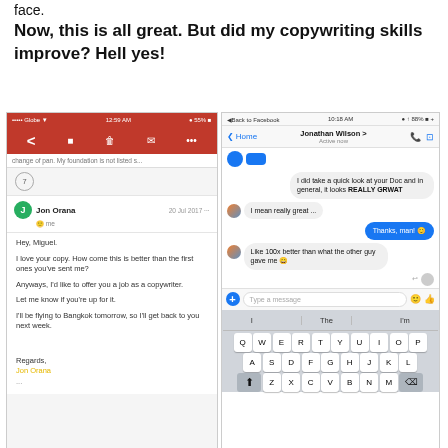face.
Now, this is all great. But did my copywriting skills improve? Hell yes!
[Figure (screenshot): Two mobile phone screenshots side by side. Left: an email app showing a message from Jon Orana dated 20 Jul 2017, reading 'Hey, Miguel. I love your copy. How come this is better than the first ones you've sent me? Anyways, I'd like to offer you a job as a copywriter. Let me know if you're up for it. I'll be flying to Bangkok tomorrow, so I'll get back to you next week. Regards, Jon Orana'. Right: A Facebook Messenger conversation where someone says 'I did take a quick look at your Doc and in general, it looks REALLY GREAT', then 'I mean really great...', user replies 'Thanks, man!', and sender says 'Like 100x better than what the other guy gave me'. A keyboard is visible at the bottom.]